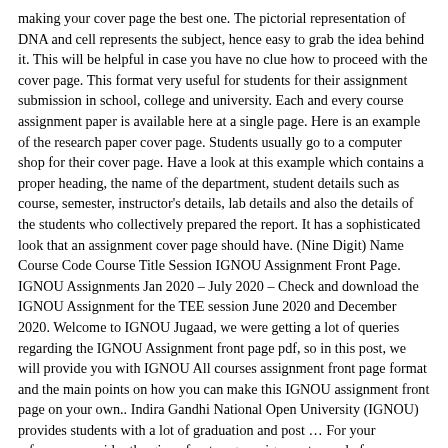making your cover page the best one. The pictorial representation of DNA and cell represents the subject, hence easy to grab the idea behind it. This will be helpful in case you have no clue how to proceed with the cover page. This format very useful for students for their assignment submission in school, college and university. Each and every course assignment paper is available here at a single page. Here is an example of the research paper cover page. Students usually go to a computer shop for their cover page. Have a look at this example which contains a proper heading, the name of the department, student details such as course, semester, instructor's details, lab details and also the details of the students who collectively prepared the report. It has a sophisticated look that an assignment cover page should have. (Nine Digit) Name Course Code Course Title Session IGNOU Assignment Front Page. IGNOU Assignments Jan 2020 – July 2020 – Check and download the IGNOU Assignment for the TEE session June 2020 and December 2020. Welcome to IGNOU Jugaad, we were getting a lot of queries regarding the IGNOU Assignment front page pdf, so in this post, we will provide you with IGNOU All courses assignment front page format and the main points on how you can make this IGNOU assignment front page on your own.. Indira Gandhi National Open University (IGNOU) provides students with a lot of graduation and post … For your reference, consider the given front-page assignment sample for a case study. Another important thing in this sample is the declaration that your